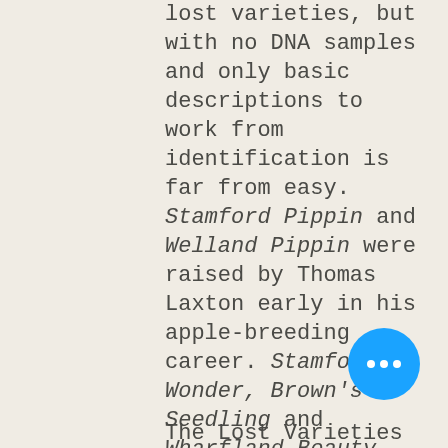lost varieties, but with no DNA samples and only basic descriptions to work from identification is far from easy. Stamford Pippin and Welland Pippin were raised by Thomas Laxton early in his apple-breeding career. Stamford Wonder, Brown's Seedling and Wharfland Beauty were all introduced by Richard Brown, whilst Richard Gilbert raised varieties with wonderful local names, such as Saint Mary's Street, The Post Office and The Butcher.
The Lost Varieties